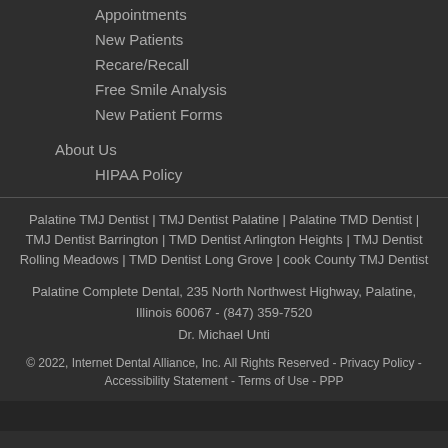Appointments
New Patients
Recare/Recall
Free Smile Analysis
New Patient Forms
About Us
HIPAA Policy
Palatine TMJ Dentist | TMJ Dentist Palatine | Palatine TMD Dentist | TMJ Dentist Barrington | TMD Dentist Arlington Heights | TMJ Dentist Rolling Meadows | TMD Dentist Long Grove | cook County TMJ Dentist
Palatine Complete Dental, 235 North Northwest Highway, Palatine, Illinois 60067 - (847) 359-7520
Dr. Michael Unti
© 2022, Internet Dental Alliance, Inc. All Rights Reserved - Privacy Policy - Accessibility Statement - Terms of Use - PPP